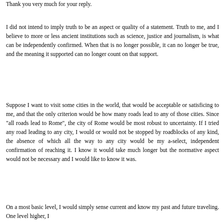Thank you very much for your reply.
I did not intend to imply truth to be an aspect or quality of a statement. Truth to me, and I believe to more or less ancient institutions such as science, justice and journalism, is what can be independently confirmed. When that is no longer possible, it can no longer be true, and the meaning it supported can no longer count on that support.
Suppose I want to visit some cities in the world, that would be acceptable or satisficing to me, and that the only criterion would be how many roads lead to any of those cities. Since "all roads lead to Rome", the city of Rome would be most robust to uncertainty. If I tried any road leading to any city, I would or would not be stopped by roadblocks of any kind, the absence of which all the way to any city would be my a-select, independent confirmation of reaching it. I know it would take much longer but the normative aspect would not be necessary and I would like to know it was.
On a most basic level, I would simply sense current and know my past and future traveling. One level higher, I